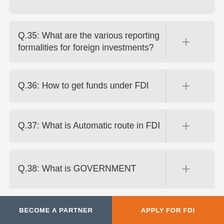Q.35: What are the various reporting formalities for foreign investments?
Q.36: How to get funds under FDI
Q.37: What is Automatic route in FDI
Q.38: What is GOVERNMENT
BECOME A PARTNER
APPLY FOR FDI